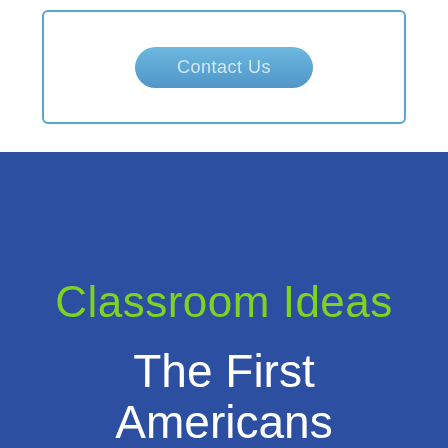[Figure (other): Contact Us button inside a bordered box at the top of the page]
Classroom Ideas
The First Americans